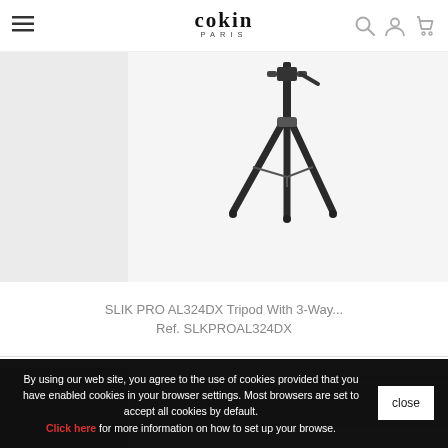Cokin Paris — navigation header with hamburger menu, logo, search, account, and cart icons
[Figure (photo): Partial product image of SLIK PRO AL324DX tripod against light grey background]
SLIK PRO AL324DX Tripod With 3-Way...
Ref. SLKPROAL324DX
[Figure (photo): Second product card partially visible, grey background]
By using our web site, you agree to the use of cookies provided that you have enabled cookies in your browser settings. Most browsers are set to accept all cookies by default.
Click here for more information on how to set up your browse.